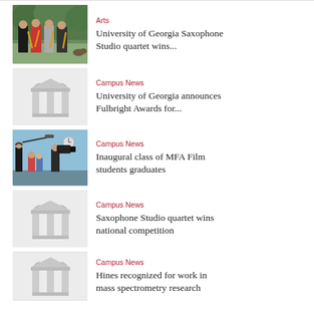[Figure (photo): Four saxophone players posing outdoors with instruments]
Arts
University of Georgia Saxophone Studio quartet wins...
[Figure (logo): UGA arch placeholder image]
Campus News
University of Georgia announces Fulbright Awards for...
[Figure (photo): MFA film students in a studio setting with camera equipment]
Campus News
Inaugural class of MFA Film students graduates
[Figure (logo): UGA arch placeholder image]
Campus News
Saxophone Studio quartet wins national competition
[Figure (logo): UGA arch placeholder image]
Campus News
Hines recognized for work in mass spectrometry research